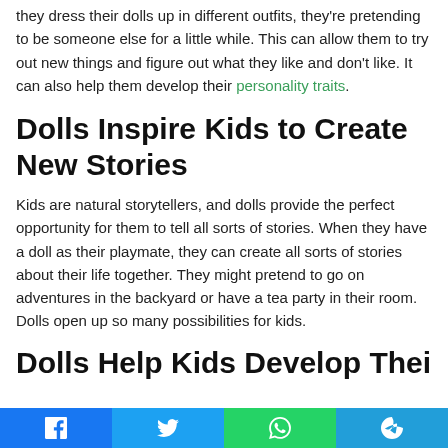they dress their dolls up in different outfits, they're pretending to be someone else for a little while. This can allow them to try out new things and figure out what they like and don't like. It can also help them develop their personality traits.
Dolls Inspire Kids to Create New Stories
Kids are natural storytellers, and dolls provide the perfect opportunity for them to tell all sorts of stories. When they have a doll as their playmate, they can create all sorts of stories about their life together. They might pretend to go on adventures in the backyard or have a tea party in their room. Dolls open up so many possibilities for kids.
Dolls Help Kids Develop Their
Facebook Twitter WhatsApp Telegram